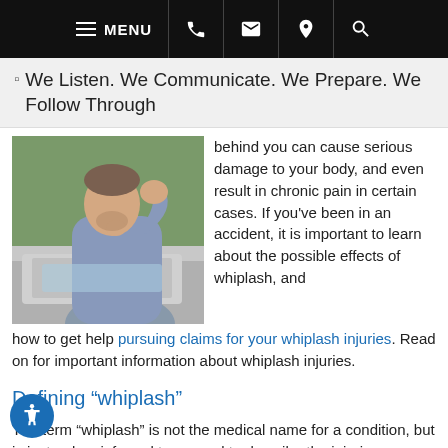MENU (navigation bar with phone, email, location, search icons)
[Figure (screenshot): Site header with broken image icon and tagline: We Listen. We Communicate. We Prepare. We Follow Through]
[Figure (photo): Man holding the back of his neck in pain, standing in front of a car with an open hood, outdoors with greenery in background]
behind you can cause serious damage to your body, and even result in chronic pain in certain cases. If you've been in an accident, it is important to learn about the possible effects of whiplash, and how to get help pursuing claims for your whiplash injuries. Read on for important information about whiplash injuries.
Defining “whiplash”
The term “whiplash” is not the medical name for a condition, but is instead an informal term used to describe the injuries resulting from cervical acceleration-deceleration trauma. This is trauma to the neck and spine